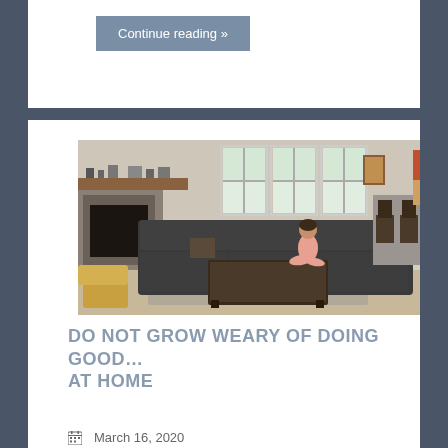Continue reading »
[Figure (photo): Interior living room with a dark sectional sofa, fireplace on the left, three windows in the background, a coffee table, and a person sitting cross-legged on the sofa. A teddy bear chair is visible in the lower left.]
DO NOT GROW WEARY OF DOING GOOD… AT HOME
March 16, 2020
It's not going to be easy to be present and